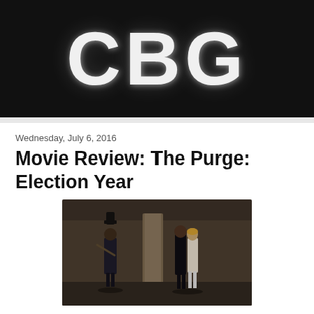[Figure (logo): CBG website logo — large white bold letters 'CBG' on a dark/black background]
Wednesday, July 6, 2016
Movie Review: The Purge: Election Year
[Figure (photo): Movie still from The Purge: Election Year showing two costumed figures in dark attire on a dimly lit street — one wearing a top hat and holding a bat, two others standing together]
Horror trilogies are a rarity in the movie genre. Certain films